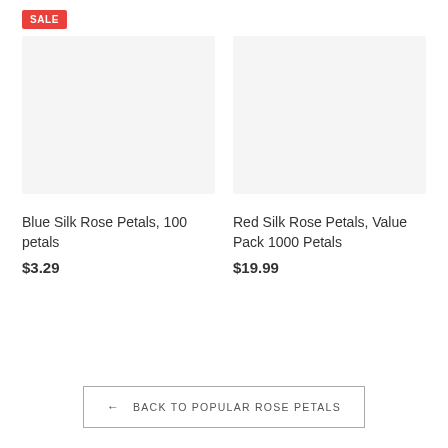SALE
[Figure (photo): Product image placeholder for Blue Silk Rose Petals, light gray background]
Blue Silk Rose Petals, 100 petals
$3.29
[Figure (photo): Product image placeholder for Red Silk Rose Petals, light gray background]
Red Silk Rose Petals, Value Pack 1000 Petals
$19.99
← BACK TO POPULAR ROSE PETALS